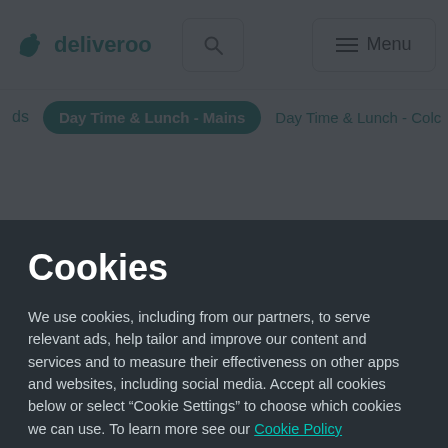[Figure (screenshot): Deliveroo website header with logo, search button, and Menu button on a light grey background]
Day Time & Lunch - Mains | Day Time & Lunch - Colc
Cookies
We use cookies, including from our partners, to serve relevant ads, help tailor and improve our content and services and to measure their effectiveness on other apps and websites, including social media. Accept all cookies below or select “Cookie Settings” to choose which cookies we can use. To learn more see our Cookie Policy
Cookie Settings
Accept All Cookies